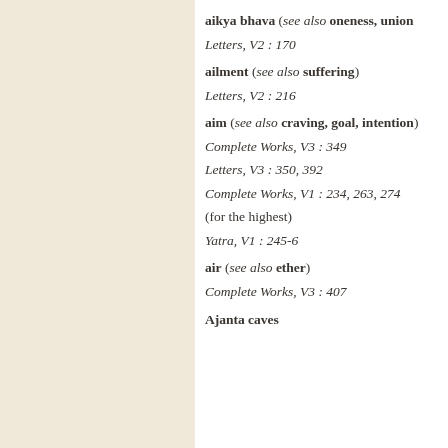aikya bhava (see also oneness, union
Letters, V2 : 170
ailment (see also suffering)
Letters, V2 : 216
aim (see also craving, goal, intention)
Complete Works, V3 : 349
Letters, V3 : 350, 392
Complete Works, V1 : 234, 263, 274
(for the highest)
Yatra, V1 : 245-6
air (see also ether)
Complete Works, V3 : 407
Ajanta caves